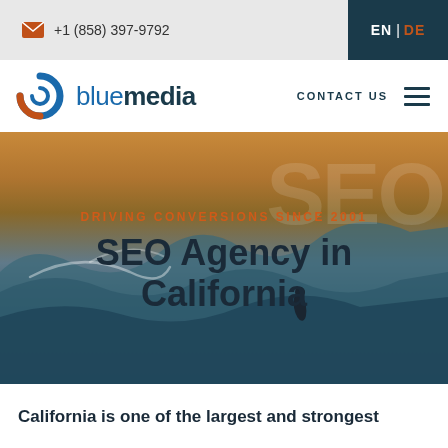+1 (858) 397-9792
[Figure (logo): Bluemedia logo with blue and orange circular icon and text 'bluemedia']
CONTACT US
[Figure (photo): Hero banner with surfer riding a large ocean wave at sunset/golden hour, with text overlay 'DRIVING CONVERSIONS SINCE 2001' and 'SEO Agency in California' and watermark 'SEO']
California is one of the largest and strongest